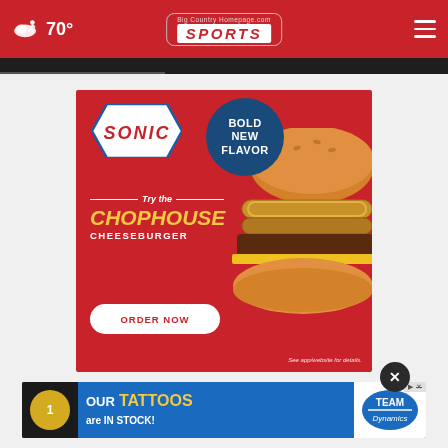70° Big Country Homepage.com SPORTS
[Figure (illustration): Sonic Drive-In advertisement showing the Chophouse Cheeseburger with text 'BOLD NEW FLAVOR', Sonic logo, 'Try the CHOPHOUSE CHEESEBURGER', 'ORDER NOW' button, and 'See app/website for details.' on a red background]
[Figure (illustration): Team Dynamics tattoos advertisement: 'OUR TATTOOS are IN STOCK!' with football helmet graphic on blue background and Team Dynamics logo on white background]